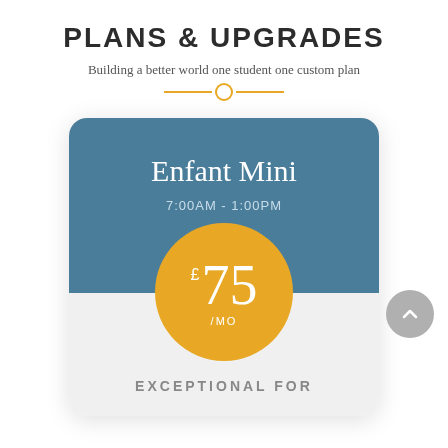PLANS & UPGRADES
Building a better world one student one custom plan
[Figure (infographic): Pricing card for 'Enfant Mini' plan showing hours 7:00AM - 1:00PM and price £75/MO in a gold circle, with card header in steel blue and footer in light grey. Text 'EXCEPTIONAL FOR' appears at bottom.]
EXCEPTIONAL FOR